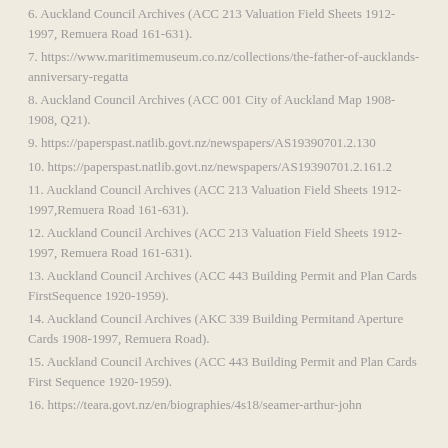6. Auckland Council Archives (ACC 213 Valuation Field Sheets 1912-1997, Remuera Road 161-631).
7. https://www.maritimemuseum.co.nz/collections/the-father-of-aucklands-anniversary-regatta
8. Auckland Council Archives (ACC 001 City of Auckland Map 1908-1908, Q21).
9. https://paperspast.natlib.govt.nz/newspapers/AS19390701.2.130
10. https://paperspast.natlib.govt.nz/newspapers/AS19390701.2.161.2
11. Auckland Council Archives (ACC 213 Valuation Field Sheets 1912-1997,Remuera Road 161-631).
12. Auckland Council Archives (ACC 213 Valuation Field Sheets 1912-1997, Remuera Road 161-631).
13. Auckland Council Archives (ACC 443 Building Permit and Plan Cards FirstSequence 1920-1959).
14. Auckland Council Archives (AKC 339 Building Permitand Aperture Cards 1908-1997, Remuera Road).
15. Auckland Council Archives (ACC 443 Building Permit and Plan Cards First Sequence 1920-1959).
16. https://teara.govt.nz/en/biographies/4s18/seamer-arthur-john